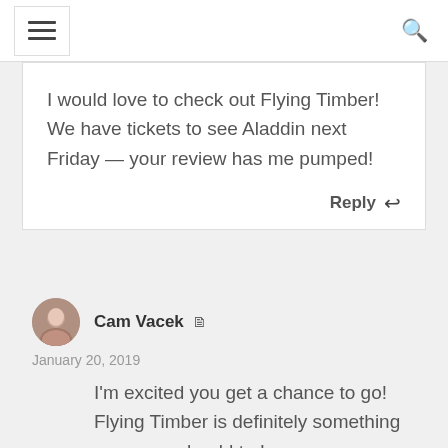navigation header with hamburger menu and search icon
I would love to check out Flying Timber! We have tickets to see Aladdin next Friday — your review has me pumped!
Reply ↩
Cam Vacek 🗒
January 20, 2019
I'm excited you get a chance to go! Flying Timber is definitely something everyone should try!